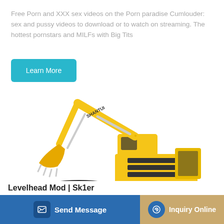Free Porn and XXX sex videos on the Porn paradise Cumlouder: sex and pussy videos to download or to watch on streaming. The hottest pornstars and MILFs with Big Tits
[Figure (illustration): Blue teal 'Learn More' button]
[Figure (photo): Yellow Shantui excavator/crawler on white background. Large construction excavator with extended boom arm and bucket, tracked undercarriage, cab visible on right side. Brand name SHANTUI visible on boom.]
Send Message   Inquiry Online
Levelhead Mod | Sk1er